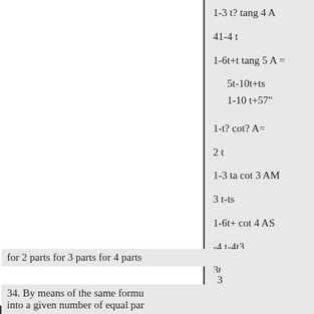for 2 parts for 3 parts for 4 parts
34. By means of the same formu into a given number of equal par